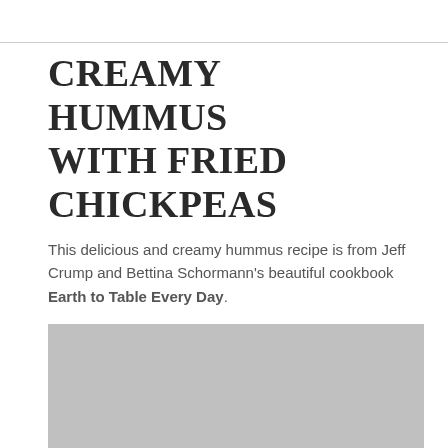CREAMY HUMMUS WITH FRIED CHICKPEAS
This delicious and creamy hummus recipe is from Jeff Crump and Bettina Schormann's beautiful cookbook Earth to Table Every Day.
[Figure (photo): Photograph of the dish (partially visible, shown as grey placeholder)]